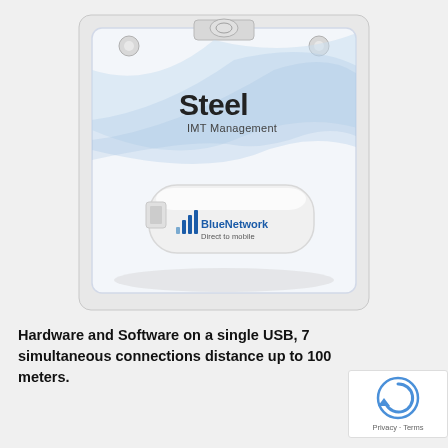[Figure (photo): A white USB drive in retail blister packaging. The packaging displays the 'Steel IMT Management' brand logo with blue swoosh design elements. The USB drive itself shows the 'BlueNetwork Direct to mobile' logo with blue signal bars icon.]
Hardware and Software on a single USB, 7 simultaneous connections distance up to 100 meters.